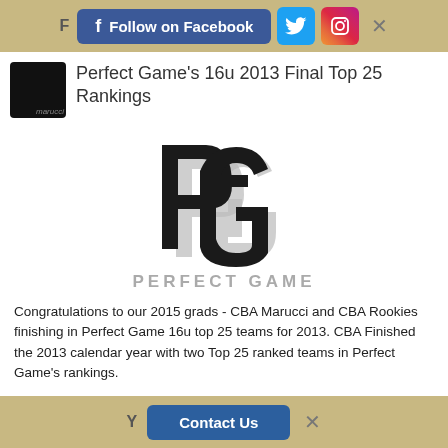Follow on Facebook
Perfect Game's 16u 2013 Final Top 25 Rankings
[Figure (logo): Perfect Game baseball organization logo — interlocked PG letters in black with gray outline, with 'PERFECT GAME' text below in gray]
Congratulations to our 2015 grads - CBA Marucci and CBA Rookies finishing in Perfect Game 16u top 25 teams for 2013. CBA Finished the 2013 calendar year with two Top 25 ranked teams in Perfect Game's rankings.
Contact Us